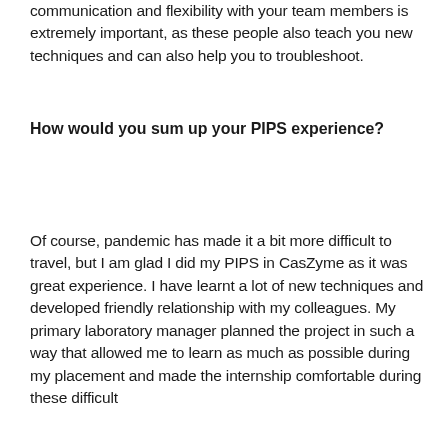communication and flexibility with your team members is extremely important, as these people also teach you new techniques and can also help you to troubleshoot.
How would you sum up your PIPS experience?
Of course, pandemic has made it a bit more difficult to travel, but I am glad I did my PIPS in CasZyme as it was great experience. I have learnt a lot of new techniques and developed friendly relationship with my colleagues. My primary laboratory manager planned the project in such a way that allowed me to learn as much as possible during my placement and made the internship comfortable during these difficult